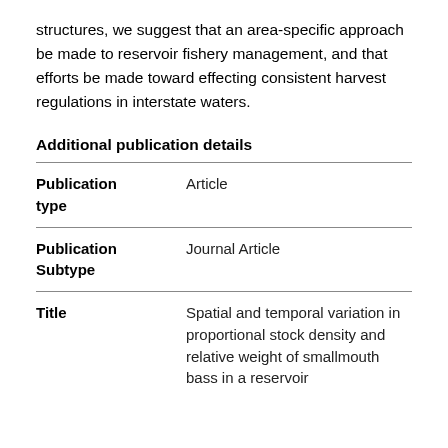structures, we suggest that an area-specific approach be made to reservoir fishery management, and that efforts be made toward effecting consistent harvest regulations in interstate waters.
Additional publication details
| Field | Value |
| --- | --- |
| Publication type | Article |
| Publication Subtype | Journal Article |
| Title | Spatial and temporal variation in proportional stock density and relative weight of smallmouth bass in a reservoir |